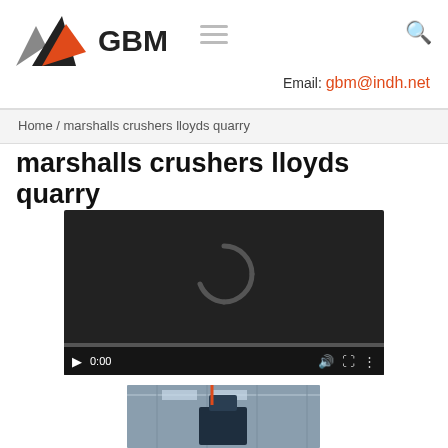[Figure (logo): GBM logo with orange/grey/black mountain triangle and bold GBM text]
Email: gbm@indh.net
Home / marshalls crushers lloyds quarry
marshalls crushers lloyds quarry
[Figure (screenshot): Video player with dark background, loading spinner, play button, 0:00 timestamp, and video controls bar]
[Figure (photo): Industrial factory interior showing a large crusher or mill machine in a warehouse]